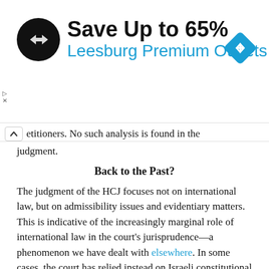[Figure (infographic): Advertisement banner: black circular logo with double arrow icon, text 'Save Up to 65%' in bold black, 'Leesburg Premium Outlets' in blue, blue diamond navigation icon on the right.]
etitioners. No such analysis is found in the judgment.
Back to the Past?
The judgment of the HCJ focuses not on international law, but on admissibility issues and evidentiary matters. This is indicative of the increasingly marginal role of international law in the court's jurisprudence—a phenomenon we have dealt with elsewhere. In some cases, the court has relied instead on Israeli constitutional law notions as a source for protecting the rights of West Bank Palestinians such as in the Silwad case in 2020. In Abu Aram, the court did not come up with any alternative protection scheme—